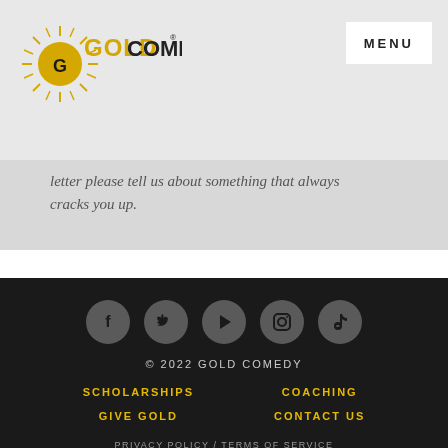[Figure (logo): Gold Comedy logo with sunburst and text]
MENU
letter please tell us about something that always cracks you up.
[Figure (infographic): Social media icons: Facebook, Twitter, Play/YouTube, Instagram, TikTok]
© 2022 GOLD COMEDY
SCHOLARSHIPS
COACHING
GIVE GOLD
CONTACT US
PRIVACY POLICY  /  TERMS OF SERVICE
SITE BY THE HOT BRAIN